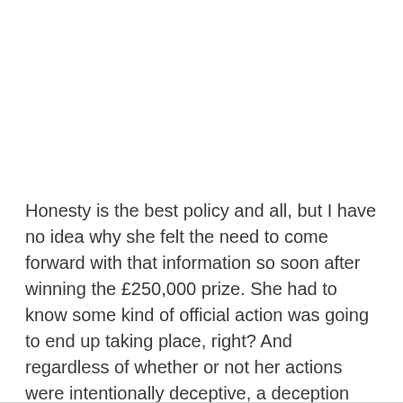Honesty is the best policy and all, but I have no idea why she felt the need to come forward with that information so soon after winning the £250,000 prize. She had to know some kind of official action was going to end up taking place, right? And regardless of whether or not her actions were intentionally deceptive, a deception still occurred, so it seems likely that this investigation won't go her way. But then I